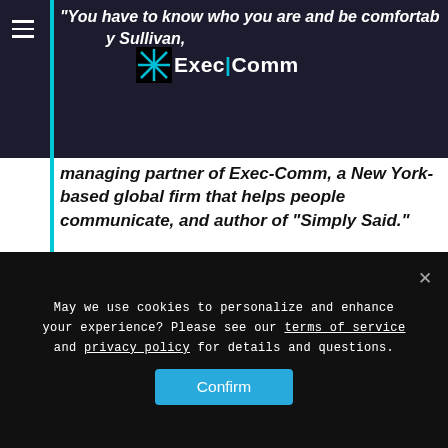“You have to know who you are and be comfortable with who you are,” said Jay Sullivan, managing partner of Exec-Comm, a New York-based global firm that helps people communicate, and author of “Simply Said.”
[Figure (logo): ExecComm logo with starburst icon and text 'Exec|Comm']
Live up to what you say you are, too.
“If I say I help people communicate better, I need to believe that,” he said. “That allows me to communicate with more confidence
May we use cookies to personalize and enhance your experience? Please see our terms of service and privacy policy for details and questions.